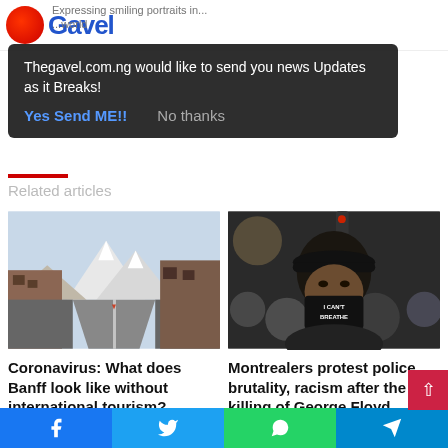Gavel
[Figure (screenshot): Browser notification popup overlay on Gavel news website saying: Thegavel.com.ng would like to send you news Updates as it Breaks! with buttons Yes Send ME!! and No thanks]
Related articles
[Figure (photo): Empty street in Banff with snow-capped mountains in background]
Coronavirus: What does Banff look like without international tourism?
May 28, 2020
[Figure (photo): Person wearing a black mask that reads I CAN'T BREATHE at a protest]
Montrealers protest police brutality, racism after the killing of George Floyd
May 31, 2020
Facebook | Twitter | WhatsApp | Telegram